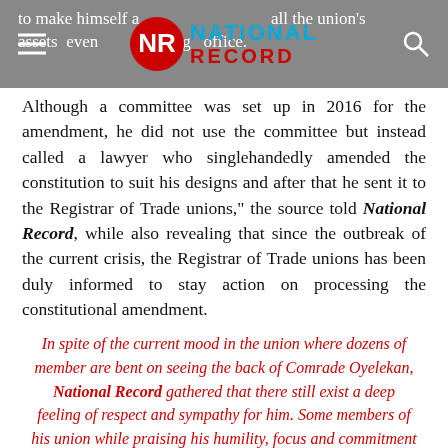to make himself a signatory of all the union's assets even after leaving office.
Although a committee was set up in 2016 for the amendment, he did not use the committee but instead called a lawyer who singlehandedly amended the constitution to suit his designs and after that he sent it to the Registrar of Trade unions," the source told National Record, while also revealing that since the outbreak of the current crisis, the Registrar of Trade unions has been duly informed to stay action on processing the constitutional amendment.
In spite of the current mood in the union where dozens of member are bent on seeing the back of Comrade Oyelekan, National Record gathered that there still exist a deep feeling of respect and sympathy for him. Some members of his union while praising his humility, focus and commitment to the growth of the union, which they said enabled him to achieve so much in the course of